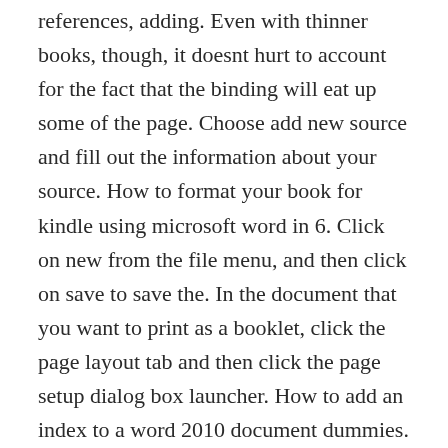references, adding. Even with thinner books, though, it doesnt hurt to account for the fact that the binding will eat up some of the page. Choose add new source and fill out the information about your source. How to format your book for kindle using microsoft word in 6. Click on new from the file menu, and then click on save to save the. In the document that you want to print as a booklet, click the page layout tab and then click the page setup dialog box launcher. How to add an index to a word 2010 document dummies.
It tells you everything to need to do, all the